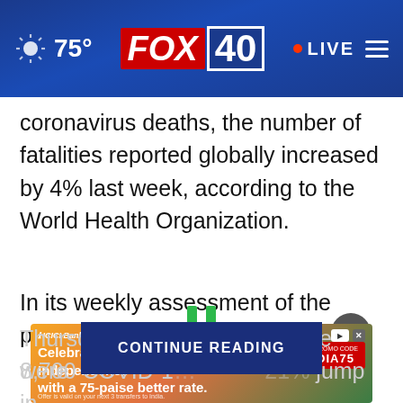75° FOX 40 • LIVE
coronavirus deaths, the number of fatalities reported globally increased by 4% last week, according to the World Health Organization.
In its weekly assessment of the pandemic issued on Thursday, the [CONTINUE READING] ere were 8,700 COVID-1… …21%… in
[Figure (screenshot): CONTINUE READING button overlay in dark blue]
[Figure (screenshot): Pause icon (two green bars) and close button (grey circle with X)]
[Figure (infographic): ICICI Bank Money2India advertisement: Celebrate 75 years of Independence with a 75-paise better rate. USE PROMO CODE INDIA75]